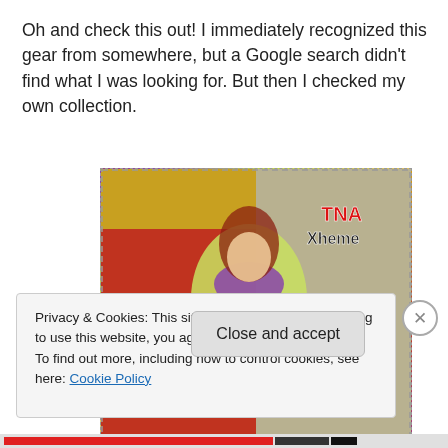Oh and check this out!  I immediately recognized this gear from somewhere, but a Google search didn't find what I was looking for.  But then I checked my own collection.
[Figure (photo): A female wrestling/entertainment performer in bright yellow-green and purple ring gear with arms outstretched, in front of a TNA Xtreme backdrop banner]
Privacy & Cookies: This site uses cookies. By continuing to use this website, you agree to their use.
To find out more, including how to control cookies, see here: Cookie Policy
Close and accept